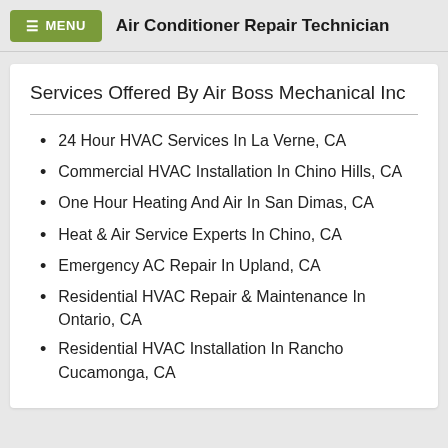MENU  Air Conditioner Repair Technician
Services Offered By Air Boss Mechanical Inc
24 Hour HVAC Services In La Verne, CA
Commercial HVAC Installation In Chino Hills, CA
One Hour Heating And Air In San Dimas, CA
Heat & Air Service Experts In Chino, CA
Emergency AC Repair In Upland, CA
Residential HVAC Repair & Maintenance In Ontario, CA
Residential HVAC Installation In Rancho Cucamonga, CA